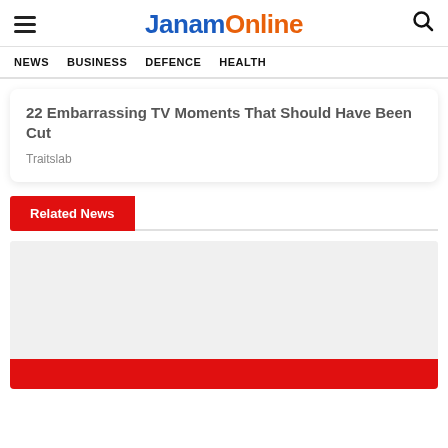JanamOnline
NEWS   BUSINESS   DEFENCE   HEALTH
22 Embarrassing TV Moments That Should Have Been Cut
Traitslab
Related News
[Figure (photo): Image placeholder area with light grey background and red strip at bottom]